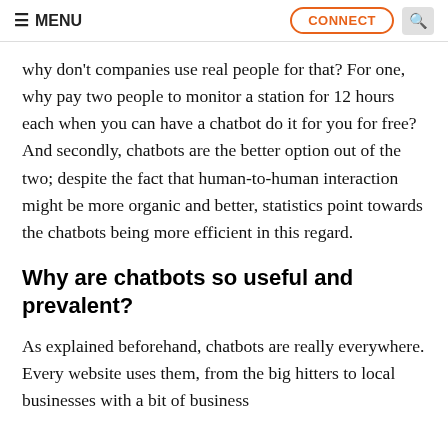≡ MENU   CONNECT   🔍
why don't companies use real people for that? For one, why pay two people to monitor a station for 12 hours each when you can have a chatbot do it for you for free? And secondly, chatbots are the better option out of the two; despite the fact that human-to-human interaction might be more organic and better, statistics point towards the chatbots being more efficient in this regard.
Why are chatbots so useful and prevalent?
As explained beforehand, chatbots are really everywhere. Every website uses them, from the big hitters to local businesses with a bit of business